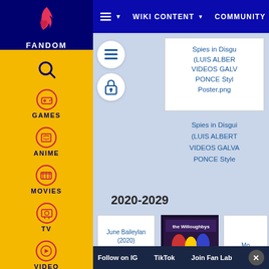[Figure (screenshot): Fandom website sidebar with logo, navigation icons for Games, Anime, Movies, TV, Video]
AA ▼   WIKI CONTENT ▼   COMMUNITY ▼
Spies in Disgu (LUIS ALBERI VIDEOS GALV PONCE Styl Poster.png
Spies in Disguise (LUIS ALBERT VIDEOS GALVA PONCE Style
2020-2029
June Baileylan (2020) Poster.png
Follow on IG   TikTok   Join Fan Lab   ✕